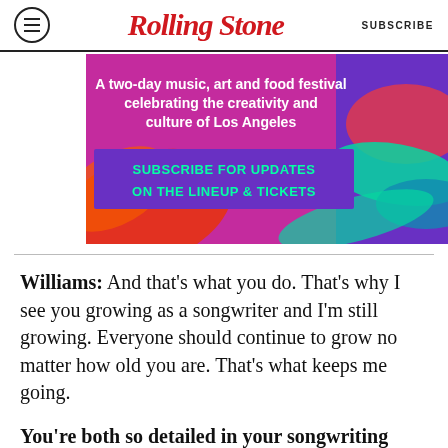Rolling Stone  SUBSCRIBE
[Figure (other): Advertisement banner with purple/pink/colorful background. Text: 'A two-day music, art and food festival celebrating the creativity and culture of Los Angeles' and a button 'SUBSCRIBE FOR UPDATES ON THE LINEUP & TICKETS']
Williams: And that's what you do. That's why I see you growing as a songwriter and I'm still growing. Everyone should continue to grow no matter how old you are. That's what keeps me going.
You're both so detailed in your songwriting